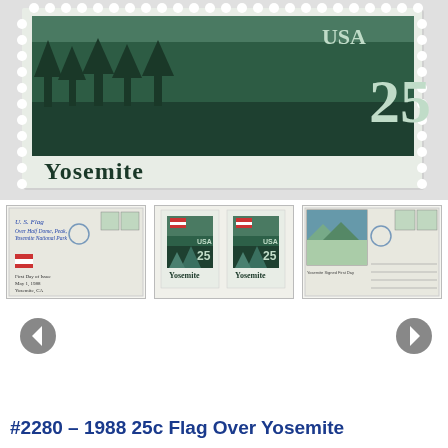[Figure (photo): Close-up of a 1988 25c Flag Over Yosemite US postage stamp showing the Yosemite landscape in dark green tones with 'USA 25' and 'Yosemite' text, with visible perforations on edges]
[Figure (photo): Three thumbnail images: (1) First day cover envelope with U.S. Flag Over Half Dome, Yosemite National Park stamps and text; (2) Two 25c Yosemite stamps showing flag over mountain; (3) Signed first day cover with landscape artwork and stamps]
#2280 – 1988 25c Flag Over Yosemite